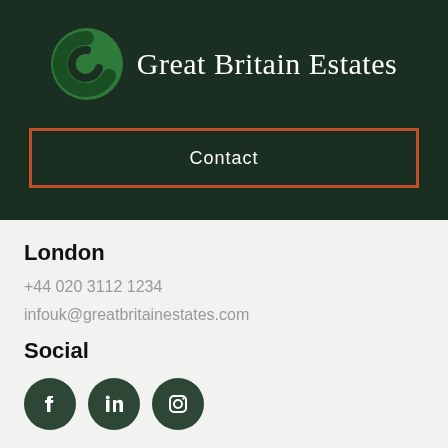[Figure (logo): Great Britain Estates logo: green circular swirl icon beside the text 'Great Britain Estates' on a dark green background]
Contact
London
+44 020 3112 1234
infouk@greatbritainestates.com
Social
[Figure (illustration): Three circular dark green social media icons: Facebook, LinkedIn, Instagram]